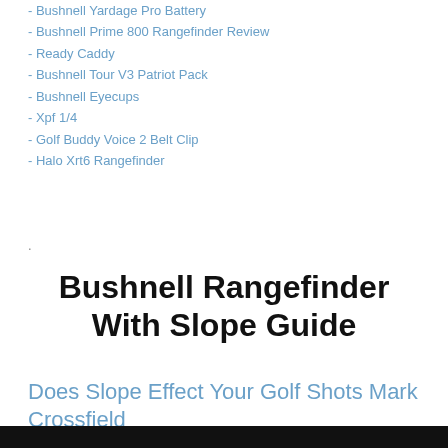- Bushnell Yardage Pro Battery
- Bushnell Prime 800 Rangefinder Review
- Ready Caddy
- Bushnell Tour V3 Patriot Pack
- Bushnell Eyecups
- Xpf 1/4
- Golf Buddy Voice 2 Belt Clip
- Halo Xrt6 Rangefinder
.
Bushnell Rangefinder With Slope Guide
Does Slope Effect Your Golf Shots Mark Crossfield
[Figure (photo): Black bar at the bottom of the page, likely the top edge of a video thumbnail or image.]